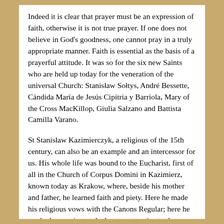Indeed it is clear that prayer must be an expression of faith, otherwise it is not true prayer. If one does not believe in God's goodness, one cannot pray in a truly appropriate manner. Faith is essential as the basis of a prayerful attitude. It was so for the six new Saints who are held up today for the veneration of the universal Church: Stanisław Sołtys, André Bessette, Cándida María de Jesús Cipitria y Barriola, Mary of the Cross MacKillop, Giulia Salzano and Battista Camilla Varano.
St Stanisław Kazimierczyk, a religious of the 15th century, can also be an example and an intercessor for us. His whole life was bound to the Eucharist, first of all in the Church of Corpus Domini in Kazimierz, known today as Krakow, where, beside his mother and father, he learned faith and piety. Here he made his religious vows with the Canons Regular; here he worked as a priest and educator, attentive to the care of the needy. However, he was linked in a special way to the Eucharist through his ardent love for Christ